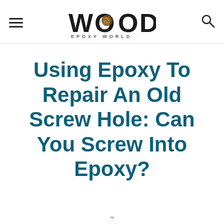WOOD EPOXY WORLD
Using Epoxy To Repair An Old Screw Hole: Can You Screw Into Epoxy?